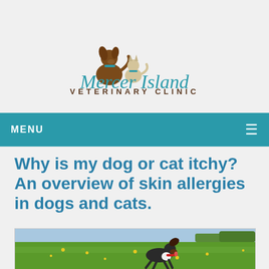[Figure (logo): Mercer Island Veterinary Clinic logo with brown dog and white cat silhouettes above stylized teal italic text 'Mercer Island' and uppercase brown 'VETERINARY CLINIC']
MENU ☰
Why is my dog or cat itchy? An overview of skin allergies in dogs and cats.
[Figure (photo): A dog running through a green field with yellow flowers, ears flapping, photographed outdoors on a sunny day]